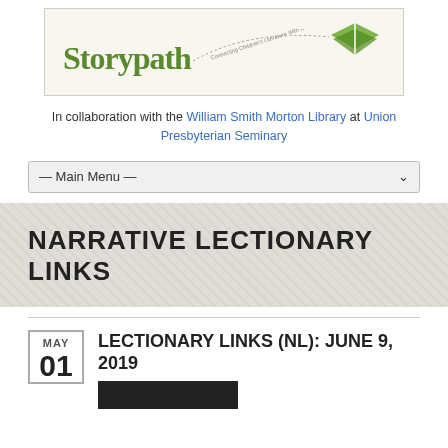[Figure (logo): Storypath logo with green book icon and tagline 'Connecting Children's Literature With Our Faith Story']
In collaboration with the William Smith Morton Library at Union Presbyterian Seminary
— Main Menu —
NARRATIVE LECTIONARY LINKS
LECTIONARY LINKS (NL): JUNE 9, 2019
MAY 01